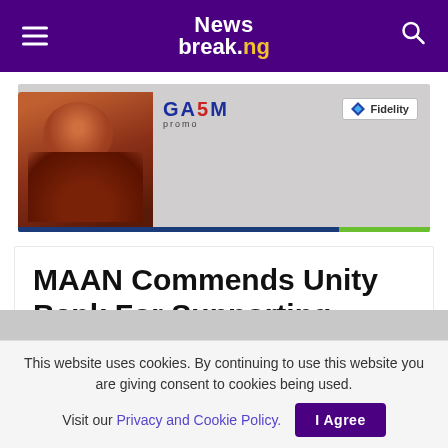Newsbreak.ng
[Figure (photo): Fidelity Bank GAMX5 promo advertisement banner with a man in traditional attire celebrating with money]
MAAN Commends Unity Bank For Supporting Maize Farmers
This website uses cookies. By continuing to use this website you are giving consent to cookies being used. Visit our Privacy and Cookie Policy.   I Agree